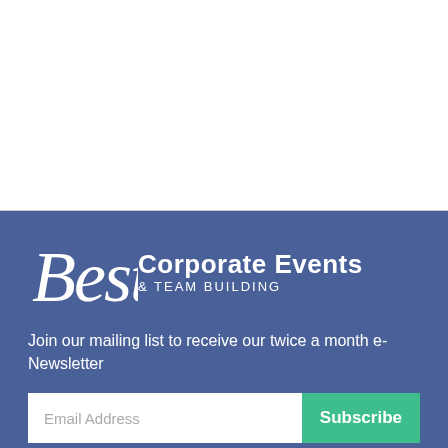[Figure (logo): Best Corporate Events & Team Building logo on blue background]
Join our mailing list to receive our twice a month e-Newsletter
Email Address  Subscribe